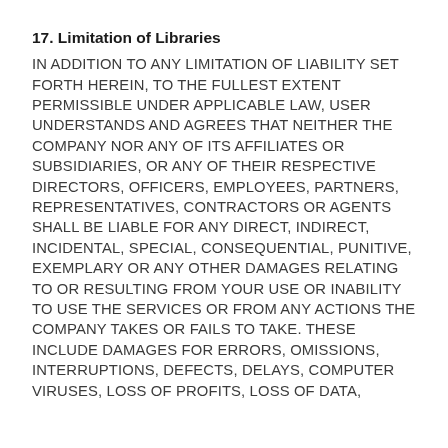17. Limitation of Libraries
IN ADDITION TO ANY LIMITATION OF LIABILITY SET FORTH HEREIN, TO THE FULLEST EXTENT PERMISSIBLE UNDER APPLICABLE LAW, USER UNDERSTANDS AND AGREES THAT NEITHER THE COMPANY NOR ANY OF ITS AFFILIATES OR SUBSIDIARIES, OR ANY OF THEIR RESPECTIVE DIRECTORS, OFFICERS, EMPLOYEES, PARTNERS, REPRESENTATIVES, CONTRACTORS OR AGENTS SHALL BE LIABLE FOR ANY DIRECT, INDIRECT, INCIDENTAL, SPECIAL, CONSEQUENTIAL, PUNITIVE, EXEMPLARY OR ANY OTHER DAMAGES RELATING TO OR RESULTING FROM YOUR USE OR INABILITY TO USE THE SERVICES OR FROM ANY ACTIONS THE COMPANY TAKES OR FAILS TO TAKE. THESE INCLUDE DAMAGES FOR ERRORS, OMISSIONS, INTERRUPTIONS, DEFECTS, DELAYS, COMPUTER VIRUSES, LOSS OF PROFITS, LOSS OF DATA,